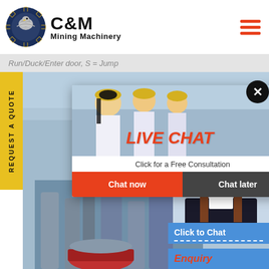[Figure (logo): C&M Mining Machinery logo with circular eagle emblem in dark blue]
Run/Duck/Enter door, S = Jump
REQUEST A QUOTE
[Figure (screenshot): Live chat popup overlay on mining machinery website with 'LIVE CHAT' title, 'Click for a Free Consultation' subtitle, 'Chat now' and 'Chat later' buttons, industrial background with workers in yellow hard hats, customer service representative photo, 'Hours online' section, 'Click to Chat' bar, and 'Enquiry' bar]